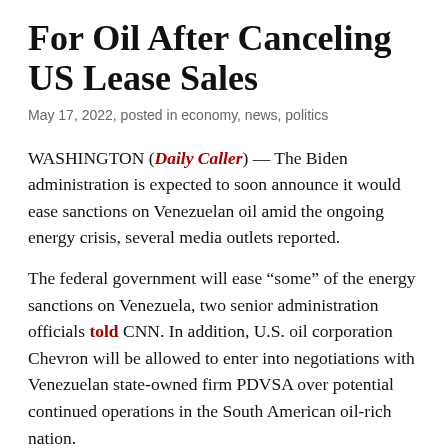For Oil After Canceling US Lease Sales
May 17, 2022, posted in economy, news, politics
WASHINGTON (Daily Caller) — The Biden administration is expected to soon announce it would ease sanctions on Venezuelan oil amid the ongoing energy crisis, several media outlets reported.
The federal government will ease “some” of the energy sanctions on Venezuela, two senior administration officials told CNN. In addition, U.S. oil corporation Chevron will be allowed to enter into negotiations with Venezuelan state-owned firm PDVSA over potential continued operations in the South American oil-rich nation.